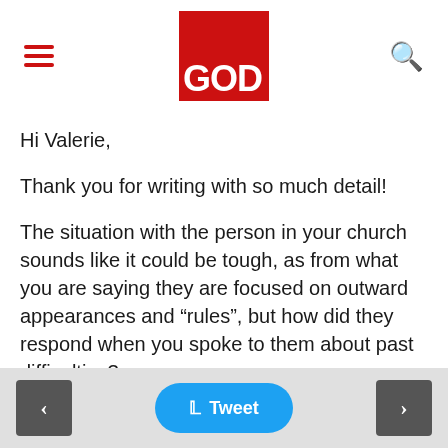GOD [logo]
Hi Valerie,
Thank you for writing with so much detail!
The situation with the person in your church sounds like it could be tough, as from what you are saying they are focused on outward appearances and “rules”, but how did they respond when you spoke to them about past difficulties?
Did they take your feedback gracefully and make adjustments or were they not receptive?
It sounds like you addressed the issues
< Tweet >